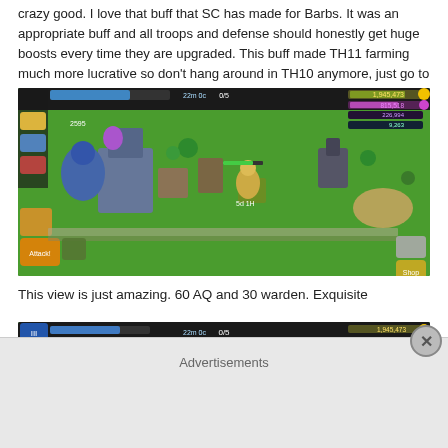crazy good. I love that buff that SC has made for Barbs. It was an appropriate buff and all troops and defense should honestly get huge boosts every time they are upgraded. This buff made TH11 farming much more lucrative so don't hang around in TH10 anymore, just go to TH11 and start your warden.
[Figure (screenshot): Clash of Clans game screenshot showing a Town Hall 11 base with various buildings, troops, and the Grand Warden. HUD elements visible including attack button, resources (1,945,473 gold, 815,518 elixir, 226,994 dark elixir, 9,263 builder elixir), troop count 0/5, timer 22m 0c.]
This view is just amazing. 60 AQ and 30 warden. Exquisite
[Figure (screenshot): Second Clash of Clans game screenshot (partial view), showing the top portion of the same base with HUD elements including 0/5 troops, 22m 0c timer, and 1,945,473 gold resource.]
Advertisements